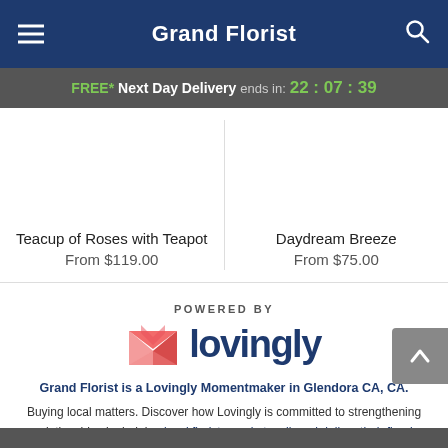Grand Florist
FREE* Next Day Delivery ends in: 22:07:39
Teacup of Roses with Teapot
From $119.00
Daydream Breeze
From $75.00
[Figure (logo): Lovingly logo with pink/red folded envelope heart icon and 'lovingly' text in dark navy]
POWERED BY
Grand Florist is a Lovingly Momentmaker in Glendora CA, CA.
Buying local matters. Discover how Lovingly is committed to strengthening relationships by helping local florists market, sell, and deliver their floral designs online.